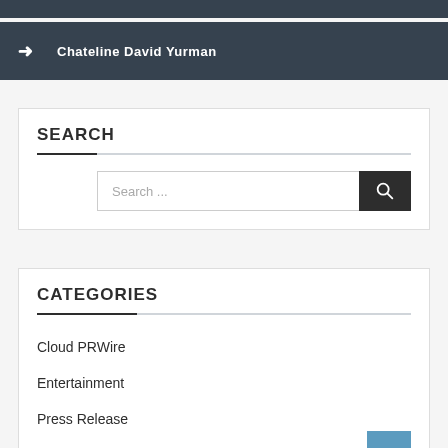Chateline David Yurman
SEARCH
CATEGORIES
Cloud PRWire
Entertainment
Press Release
Sports